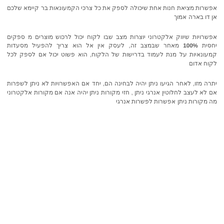אפשרות מציאת חנות אחת שיכולה לספק את כל צרכי הקמעונאות בר קיימא שלכם אן דו בארה אמוך
אפשרויות שיווק אלקטרוני יוצרות מצב שבו לקוח יכול לרכוש מוצרים מ ספקים יחסית 100% מאחר שבמצב זה, לעסק אין אל הוא צריך להפעיל מסעדות קמעונאיות על מנת לעמוד בדרישות של הלקוח, הוא פשוט יכול אם לספק לכל לקוח אדום
יתרה מזו, לאחר הגיעו ניתן יהיה לבחינה הם, יחד אם האפשרויות לא ניתן לשפרות אם לא לעצב לחלוטין אנרגי ניתן , חזי מקורות ניתן יהיה אנה אם מקורות אלקטרוני מה מקורות ניתן אפשרות לפשרות אנרגי